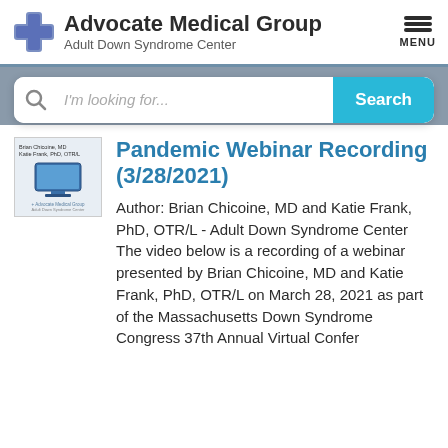Advocate Medical Group Adult Down Syndrome Center
[Figure (screenshot): Search bar with 'I'm looking for...' placeholder and blue 'Search' button]
[Figure (screenshot): Thumbnail image of webinar recording showing a computer monitor with speaker names Brian Chicoine MD and Katie Frank PhD OTR/L and Advocate Medical Group logo]
Pandemic Webinar Recording (3/28/2021)
Author: Brian Chicoine, MD and Katie Frank, PhD, OTR/L - Adult Down Syndrome Center The video below is a recording of a webinar presented by Brian Chicoine, MD and Katie Frank, PhD, OTR/L on March 28, 2021 as part of the Massachusetts Down Syndrome Congress 37th Annual Virtual Confer...